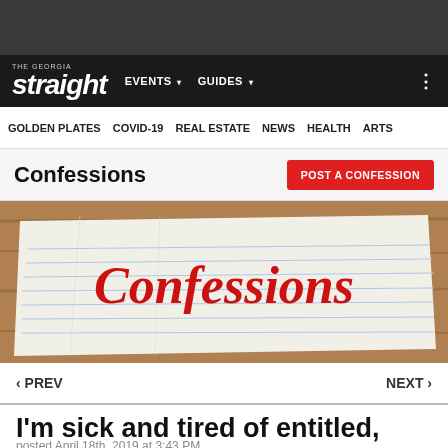The Georgia Straight — EVENTS  GUIDES
GOLDEN PLATES  COVID-19  REAL ESTATE  NEWS  HEALTH  ARTS
Confessions
[Figure (photo): Crumpled lined notebook paper with 'Confessions' written in red cursive script on a wooden surface]
< PREV    NEXT >
I'm sick and tired of entitled, selfish cyclists
posted April 18th, 2019 at 3:43 PM